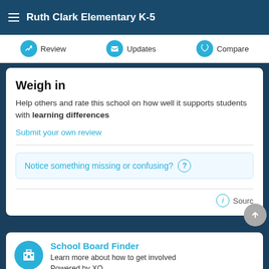Ruth Clark Elementary K-5
Review | Updates | Compare
Weigh in
Help others and rate this school on how well it supports students with learning differences
Submit your own review
Notice something missing or confusing? ?
Source
School Board Finder
Learn more about how to get involved
Powered by XQ
Homes Nearby